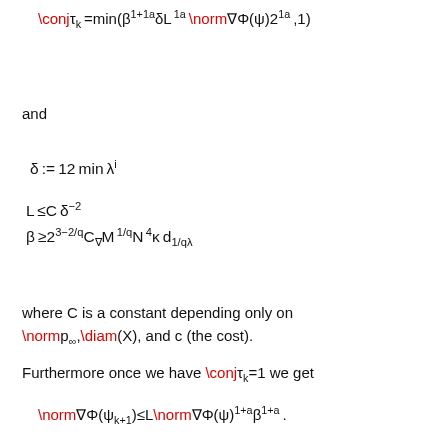and
where C is a constant depending only on \norm p_∞, \diam(X), and c (the cost).
Furthermore once we have \conj τ_k=1 we get